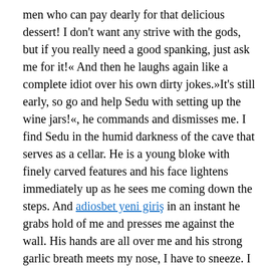men who can pay dearly for that delicious dessert! I don't want any strive with the gods, but if you really need a good spanking, just ask me for it!« And then he laughs again like a complete idiot over his own dirty jokes.»It's still early, so go and help Sedu with setting up the wine jars!«, he commands and dismisses me. I find Sedu in the humid darkness of the cave that serves as a cellar. He is a young bloke with finely carved features and his face lightens immediately up as he sees me coming down the steps. And adiosbet yeni giriş in an instant he grabs hold of me and presses me against the wall. His hands are all over me and his strong garlic breath meets my nose, I have to sneeze. I pull my stomach in as far I can to allow his thin fingers access to the hidden secrets. I need a friend, and I need help! And that's why I have to give all I have.He gets excited and whispers, that he knows exactly who I am, and: that his uncle plans to sell me for a hefty ransom to the royal guards, as soon they would come by!»Get me out